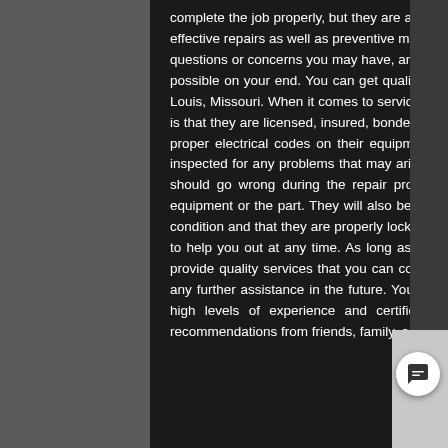complete the job properly, but they are also fully trained and certified professionals that are able to offer you high-quality and effective repairs as well as preventive maintenance to keep your doors working well. They should be available to answer any questions or concerns you may have, and should have a friendly and helpful staff that will be able to make things as easy as possible on your end. You can get quality repairs, when you contact a reliable service provider for garage door repair in St Louis, Missouri. When it comes to services for garage door repair in St Louis, MO, the first thing that you need to make sure is that they are licensed, insured, bonded, and a member of the National Electrical Code. Check to make sure they have the proper electrical codes on their equipment, as well as making sure that the equipment has been thoroughly tested and inspected for any problems that may arise. Many companies use state-of-the-art equipment and machinery, and if anything should go wrong during the repair process, the technicians will be able to correct the problem without damaging the equipment or the part. They will also be able to take care of other safety concerns like ensuring that the doors are in good condition and that they are properly locked. You can rest easy knowing that a qualified professional will be on site and ready to help you out at any time. As long as you choose an experienced company with a good reputation, they will be able to provide quality services that you can count on. You should also make sure that they can provide assistance if you require any further assistance in the future. You can get quality for garage door repair in St Louis, MO by choosing company with high levels of experience and certifica in the industry. If you take the time to look around online and ask for recommendations from friends, family, and coworkers